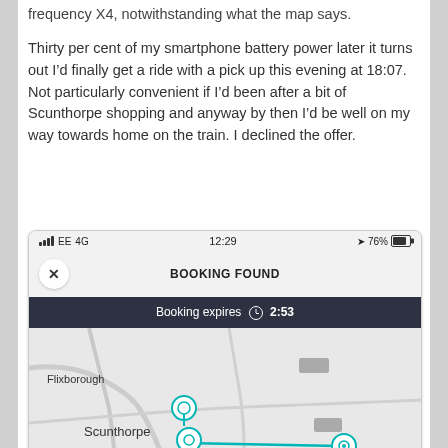frequency X4, notwithstanding what the map says.
Thirty per cent of my smartphone battery power later it turns out I’d finally get a ride with a pick up this evening at 18:07. Not particularly convenient if I’d been after a bit of Scunthorpe shopping and anyway by then I’d be well on my way towards home on the train. I declined the offer.
[Figure (screenshot): A smartphone screenshot showing a transport booking app. Status bar shows EE 4G signal, time 12:29, 76% battery. A 'BOOKING FOUND' header appears with a close (X) button. Below is a dark navy banner reading 'Booking expires [clock icon] 2:53'. Below is a map showing Flixborough and Scunthorpe areas with teal route line and location pins, and an M181 road label.]